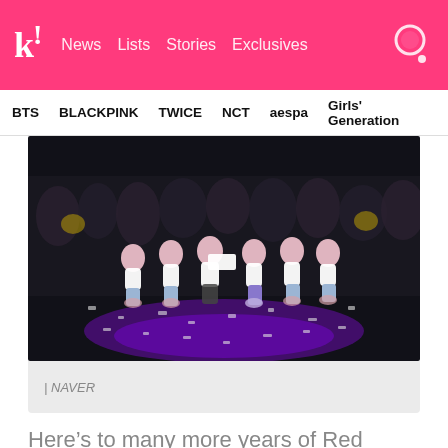k! News Lists Stories Exclusives
BTS   BLACKPINK   TWICE   NCT   aespa   Girls' Generation
[Figure (photo): Red Velvet members posing on stage with fans in background, confetti on stage floor, purple stage lighting]
| NAVER
Here’s to many more years of Red Velvet!